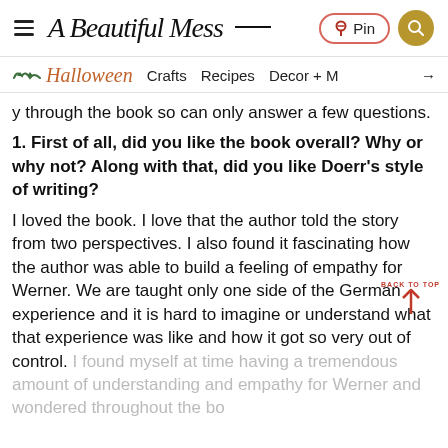A Beautiful Mess — Pin | Search
Halloween  Crafts  Recipes  Decor + More →
y through the book so can only answer a few questions.
1. First of all, did you like the book overall? Why or why not? Along with that, did you like Doerr's style of writing?
I loved the book. I love that the author told the story from two perspectives. I also found it fascinating how the author was able to build a feeling of empathy for Werner. We are taught only one side of the German experience and it is hard to imagine or understand what that experience was like and how it got so very out of control. I found myself at time having a tremendous amount of understanding and empathy for Werner and wondered throughout the bo